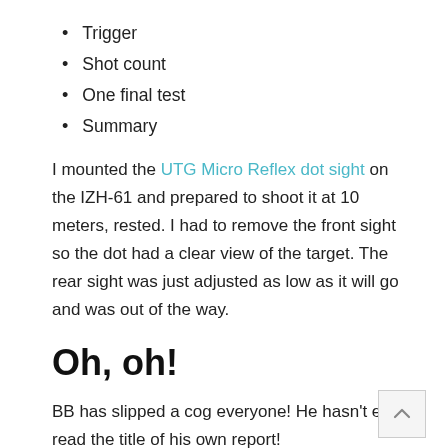Trigger
Shot count
One final test
Summary
I mounted the UTG Micro Reflex dot sight on the IZH-61 and prepared to shoot it at 10 meters, rested. I had to remove the front sight so the dot had a clear view of the target. The rear sight was just adjusted as low as it will go and was out of the way.
Oh, oh!
BB has slipped a cog everyone! He hasn't even read the title of his own report!